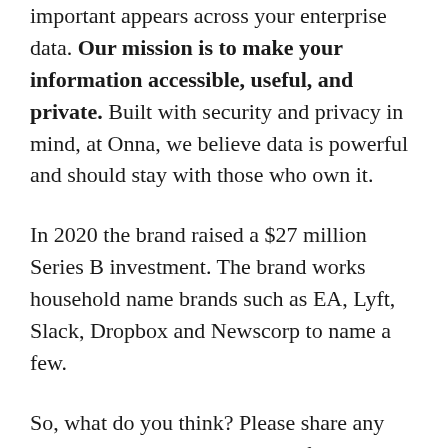important appears across your enterprise data. Our mission is to make your information accessible, useful, and private. Built with security and privacy in mind, at Onna, we believe data is powerful and should stay with those who own it.
In 2020 the brand raised a $27 million Series B investment. The brand works household name brands such as EA, Lyft, Slack, Dropbox and Newscorp to name a few.
So, what do you think?  Please share any comments you might have, or if you'd like to